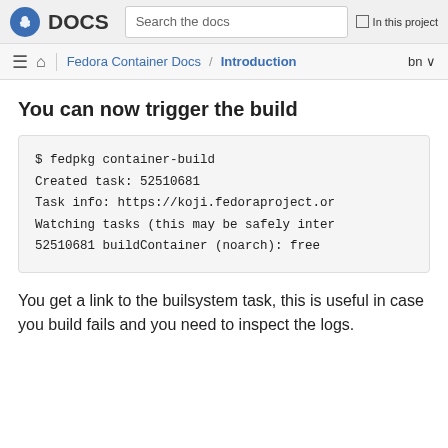DOCS | Search the docs | In this project
Fedora Container Docs / Introduction | bn
You can now trigger the build
$ fedpkg container-build
Created task: 52510681
Task info: https://koji.fedoraproject.or
Watching tasks (this may be safely inter
52510681 buildContainer (noarch): free
You get a link to the builsystem task, this is useful in case you build fails and you need to inspect the logs.